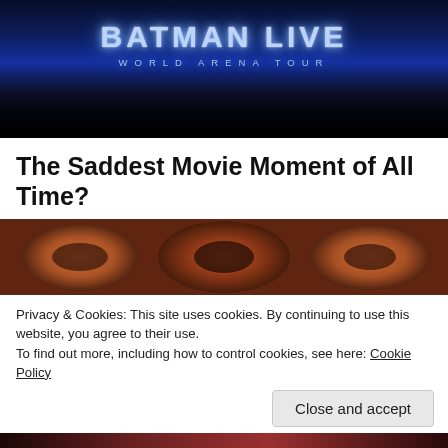[Figure (photo): Batman Live World Arena Tour promotional image with blue glowing text on dark background]
The Saddest Movie Moment of All Time?
[Figure (photo): Close-up of film reel with warm copper/orange tones]
Privacy & Cookies: This site uses cookies. By continuing to use this website, you agree to their use.
To find out more, including how to control cookies, see here: Cookie Policy
Close and accept
[Figure (photo): Partial bottom image, dark reddish tones]